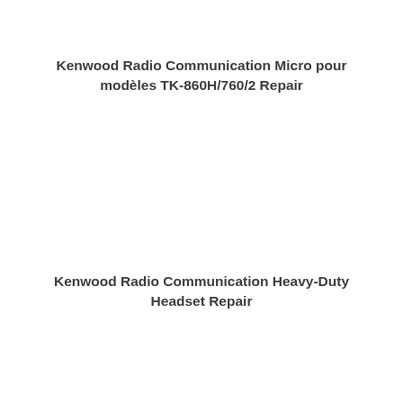Kenwood Radio Communication Micro pour modèles TK-860H/760/2 Repair
Kenwood Radio Communication Heavy-Duty Headset Repair